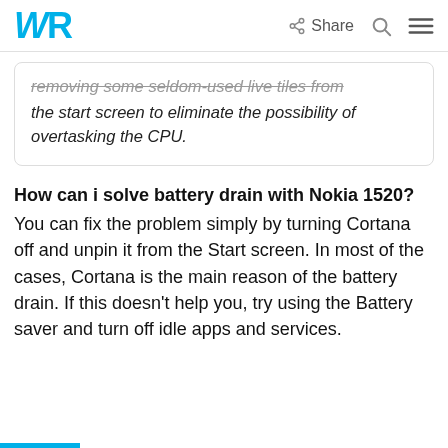WR | Share
removing some seldom-used live tiles from the start screen to eliminate the possibility of overtasking the CPU.
How can i solve battery drain with Nokia 1520?
You can fix the problem simply by turning Cortana off and unpin it from the Start screen. In most of the cases, Cortana is the main reason of the battery drain. If this doesn’t help you, try using the Battery saver and turn off idle apps and services.